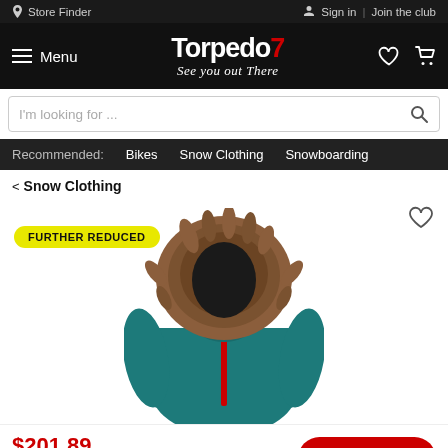Store Finder | Sign in | Join the club
[Figure (logo): Torpedo7 logo with tagline 'See you out There']
Menu
I'm looking for ...
Recommended: Bikes  Snow Clothing  Snowboarding
< Snow Clothing
[Figure (photo): Teal ski/snow jacket with large fur-trimmed hood, red zipper detail]
FURTHER REDUCED
$201.89
or $2.55/week for 36 months
How it works